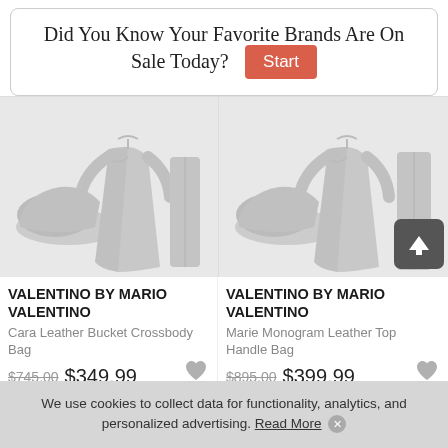Did You Know Your Favorite Brands Are On Sale Today?
[Figure (illustration): Clothing placeholder image showing shoes, dress, and pants silhouettes in light gray — left product card]
VALENTINO BY MARIO VALENTINO
Cara Leather Bucket Crossbody Bag
$745.00 $349.99
[Figure (illustration): Clothing placeholder image showing shoes, dress, and pants silhouettes in light gray — right product card]
VALENTINO BY MARIO VALENTINO
Marie Monogram Leather Top Handle Bag
$895.00 $399.99
We use cookies to collect data for functionality, analytics, and personalized advertising. Read More